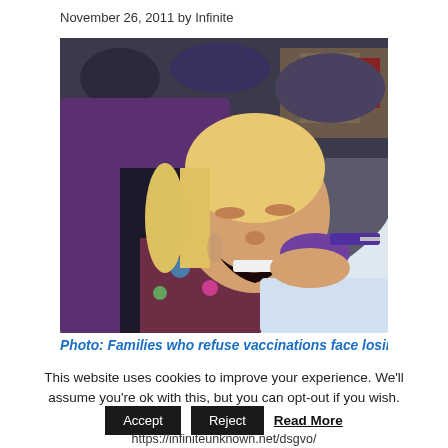November 26, 2011 by Infinite
[Figure (photo): A young blonde girl crying while receiving a vaccination injection, being held by an adult. A medical worker wearing purple gloves administers the shot.]
Photo: Families who refuse vaccinations face losing
This website uses cookies to improve your experience. We'll assume you're ok with this, but you can opt-out if you wish.
Accept   Reject   Read More
https://infiniteunknown.net/dsgvo/